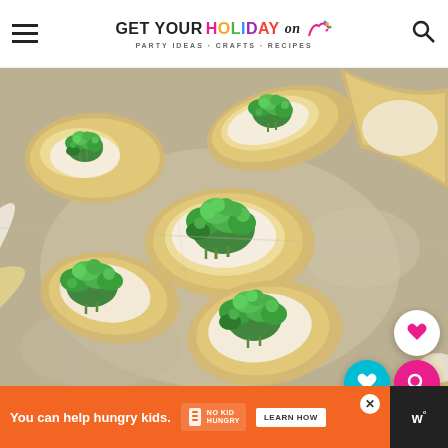GET YOUR HOLIDAY ON - PARTY IDEAS · CRAFTS · RECIPES
[Figure (photo): Close-up overhead photo of crescent roll pastry appetizers topped with cream cheese and fresh broccoli florets, arranged on a baking sheet.]
You can help hungry kids. NO KID HUNGRY LEARN HOW